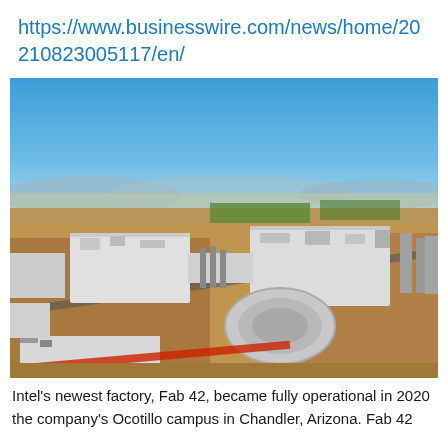https://www.businesswire.com/news/home/20210823005117/en/
[Figure (photo): Aerial photograph of Intel's Fab 42 semiconductor manufacturing facility at the Ocotillo campus in Chandler, Arizona. Large industrial buildings with flat white roofs, construction areas, roads, and surrounding desert landscape visible under a clear blue sky.]
Intel's newest factory, Fab 42, became fully operational in 2020 the company's Ocotillo campus in Chandler, Arizona. Fab 42